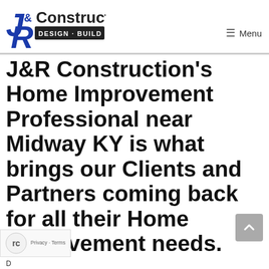[Figure (logo): J&R Construction logo with blue J and R letters and 'DESIGN BUILD REMODEL' banner]
≡ Menu
J&R Construction's Home Improvement Professional near Midway KY is what brings our Clients and Partners coming back for all their Home Improvement needs.